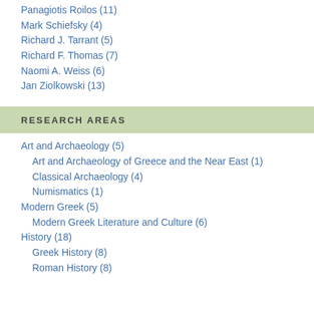Panagiotis Roilos (11)
Mark Schiefsky (4)
Richard J. Tarrant (5)
Richard F. Thomas (7)
Naomi A. Weiss (6)
Jan Ziolkowski (13)
RESEARCH AREAS
Art and Archaeology (5)
Art and Archaeology of Greece and the Near East (1)
Classical Archaeology (4)
Numismatics (1)
Modern Greek (5)
Modern Greek Literature and Culture (6)
History (18)
Greek History (8)
Roman History (8)